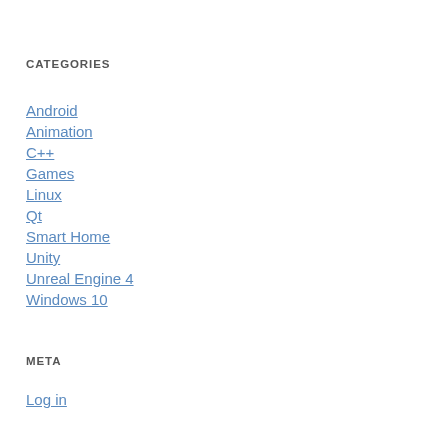CATEGORIES
Android
Animation
C++
Games
Linux
Qt
Smart Home
Unity
Unreal Engine 4
Windows 10
META
Log in